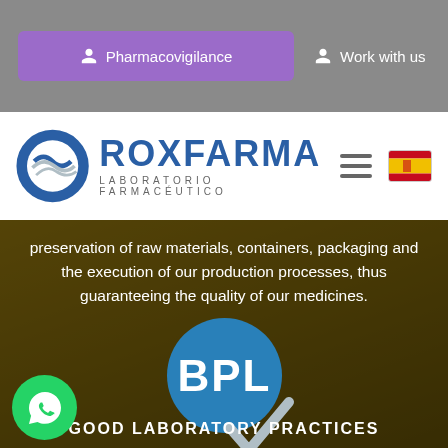[Figure (screenshot): Top navigation bar with purple Pharmacovigilance button and Work with us link on gray background]
[Figure (logo): Roxfarma Laboratorio Farmaceutico logo with blue circular emblem and text, hamburger menu icon, and Spanish flag]
preservation of raw materials, containers, packaging and the execution of our production processes, thus guaranteeing the quality of our medicines.
[Figure (illustration): BPL badge - blue circle with BPL text and checkmark, overlaid on dark background with lab imagery]
GOOD LABORATORY PRACTICES